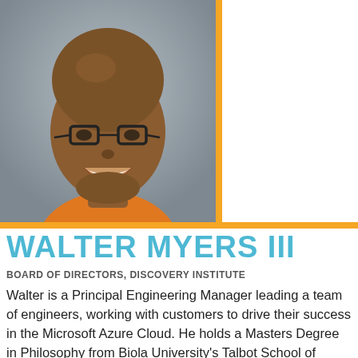[Figure (photo): Headshot of Walter Myers III, a smiling bald man wearing glasses and an orange shirt, against a grey background. An orange vertical bar appears to the right of the photo, with an orange horizontal bar running below.]
WALTER MYERS III
BOARD OF DIRECTORS, DISCOVERY INSTITUTE
Walter is a Principal Engineering Manager leading a team of engineers, working with customers to drive their success in the Microsoft Azure Cloud. He holds a Masters Degree in Philosophy from Biola University's Talbot School of Theology, where he is an adjunct faculty member in the Master of Arts in Science & Religion (MASR) program teaching on